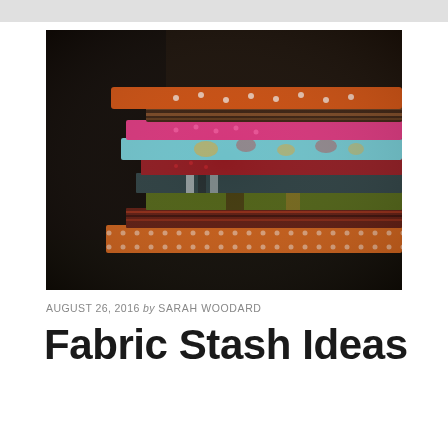[Figure (photo): A stack of colorful folded fabrics on a dark wooden surface, viewed from a low angle. Fabrics include orange with white polka dots, pink with polka dots, light blue with floral print, dark brown with stripes, green patterned, and others in various colors and patterns.]
AUGUST 26, 2016 by SARAH WOODARD
Fabric Stash Ideas